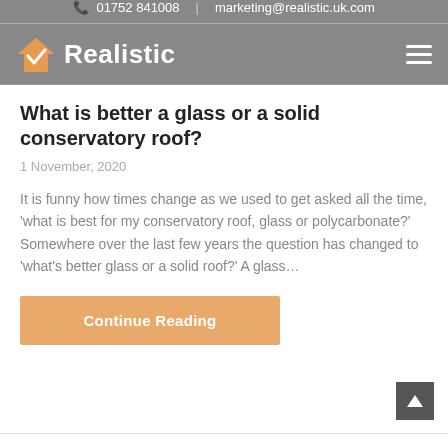📞 01752 841008  |  marketing@realistic.uk.com
[Figure (logo): Realistic logo with orange house checkmark icon and white bold text 'Realistic' on grey background]
What is better a glass or a solid conservatory roof?
1 November, 2020
It is funny how times change as we used to get asked all the time, 'what is best for my conservatory roof, glass or polycarbonate?' Somewhere over the last few years the question has changed to 'what's better glass or a solid roof?' A glass…
Continue Reading